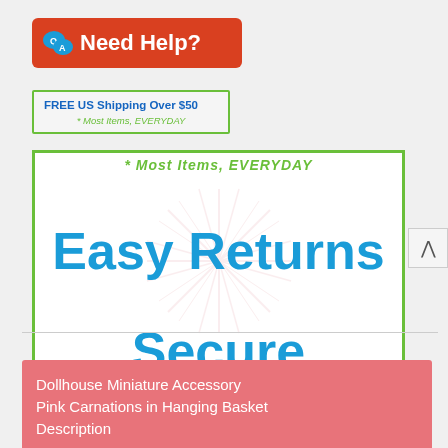[Figure (logo): Red rounded rectangle banner with Q|A speech bubble icon and white text 'Need Help?']
[Figure (infographic): White box with green border showing 'FREE US Shipping Over $50' in bold blue and '* Most Items, EVERYDAY' in green italic]
[Figure (infographic): Large white box with green border, faint starburst watermark, green italic text '* Most Items, EVERYDAY' at top, bold blue text 'Easy Returns' and 'Secure Shopping']
Dollhouse Miniature Accessory Pink Carnations in Hanging Basket Description